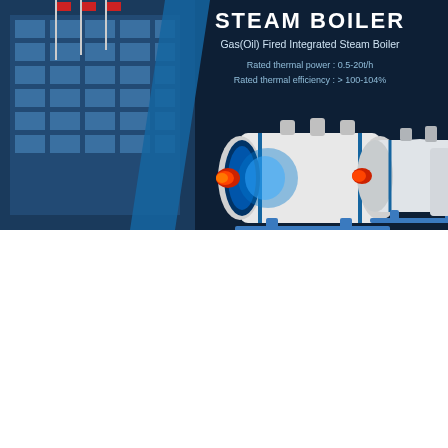[Figure (photo): Dark navy banner showing steam boilers — industrial gas/oil fired integrated steam boilers — with a building facade visible on the left and three white cylindrical boiler units displayed. Text overlay reads STEAM BOILER, Gas(Oil) Fired Integrated Steam Boiler, Rated thermal power: 0.5-20t/h, Rated thermal efficiency: >100-104%.]
Ideal Domestic Boilers are ready for a 20 hydrogen blend
Hot News
Coalfired Boiler YouTube